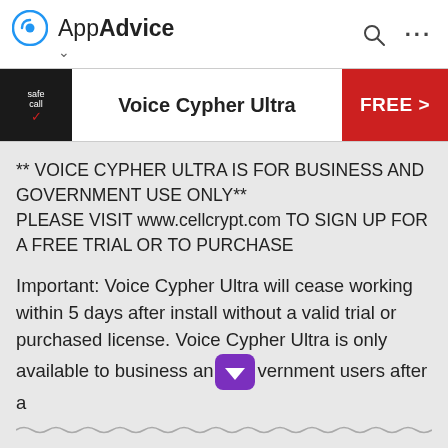AppAdvice
Voice Cypher Ultra
FREE >
** VOICE CYPHER ULTRA IS FOR BUSINESS AND GOVERNMENT USE ONLY**
PLEASE VISIT www.cellcrypt.com TO SIGN UP FOR A FREE TRIAL OR TO PURCHASE
Important: Voice Cypher Ultra will cease working within 5 days after install without a valid trial or purchased license. Voice Cypher Ultra is only available to business and government users after a